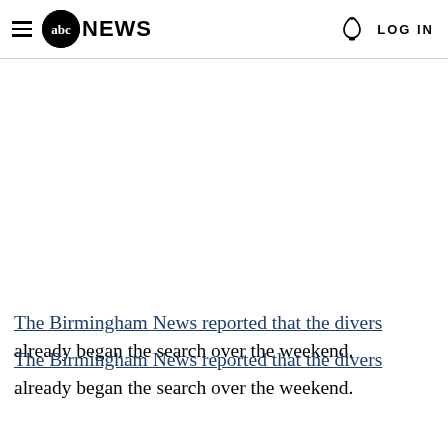abc NEWS  LOG IN
The Birmingham News reported that the divers already began the search over the weekend.